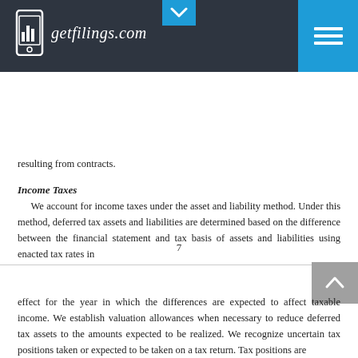getfilings.com
resulting from contracts.
Income Taxes
We account for income taxes under the asset and liability method. Under this method, deferred tax assets and liabilities are determined based on the difference between the financial statement and tax basis of assets and liabilities using enacted tax rates in
7
effect for the year in which the differences are expected to affect taxable income. We establish valuation allowances when necessary to reduce deferred tax assets to the amounts expected to be realized. We recognize uncertain tax positions taken or expected to be taken on a tax return. Tax positions are